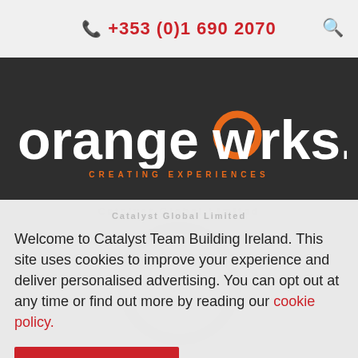+353 (0)1 690 2070
[Figure (logo): Orangeworks logo with orange circle 'o', white text, and orange tagline 'CREATING EXPERIENCES' on dark background]
Orangeworks has exclusive rights as the Irish licensed partner of Catalyst Global Limited
Welcome to Catalyst Team Building Ireland. This site uses cookies to improve your experience and deliver personalised advertising. You can opt out at any time or find out more by reading our cookie policy.
I Understand